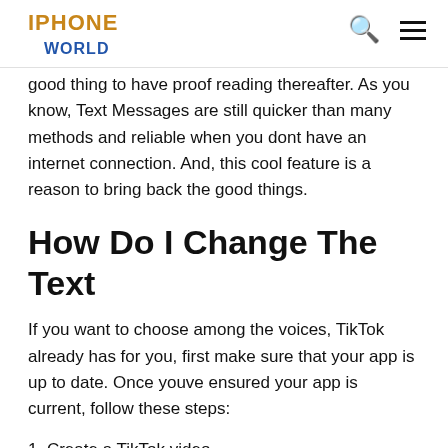IPHONE WORLD
good thing to have proof reading thereafter. As you know, Text Messages are still quicker than many methods and reliable when you dont have an internet connection. And, this cool feature is a reason to bring back the good things.
How Do I Change The Text
If you want to choose among the voices, TikTok already has for you, first make sure that your app is up to date. Once youve ensured your app is current, follow these steps:
1. Create a TikTok video.
2. Go to the bottom of the screen and choose Text, then input the text you want to convert to speech.